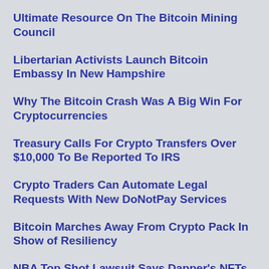Ultimate Resource On The Bitcoin Mining Council
Libertarian Activists Launch Bitcoin Embassy In New Hampshire
Why The Bitcoin Crash Was A Big Win For Cryptocurrencies
Treasury Calls For Crypto Transfers Over $10,000 To Be Reported To IRS
Crypto Traders Can Automate Legal Requests With New DoNotPay Services
Bitcoin Marches Away From Crypto Pack In Show of Resiliency
NBA Top Shot Lawsuit Says Dapper's NFTs Need SEC Clampdown